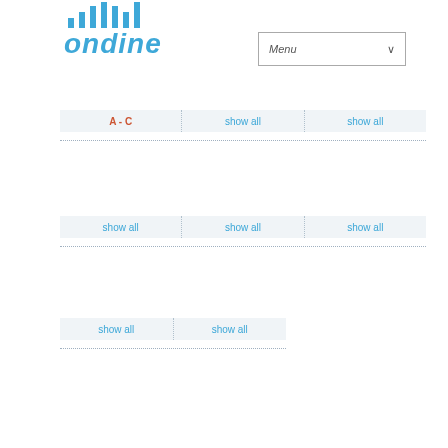[Figure (logo): Ondine logo with vertical bars and blue italic text]
Menu
A - C  show all  show all
show all  show all  show all
show all  show all